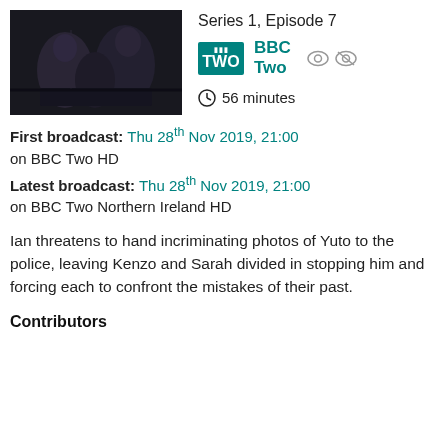[Figure (photo): Dark, moody scene of people seated at a table in a dimly lit room]
Series 1, Episode 7
BBC Two
56 minutes
First broadcast: Thu 28th Nov 2019, 21:00 on BBC Two HD
Latest broadcast: Thu 28th Nov 2019, 21:00 on BBC Two Northern Ireland HD
Ian threatens to hand incriminating photos of Yuto to the police, leaving Kenzo and Sarah divided in stopping him and forcing each to confront the mistakes of their past.
Contributors